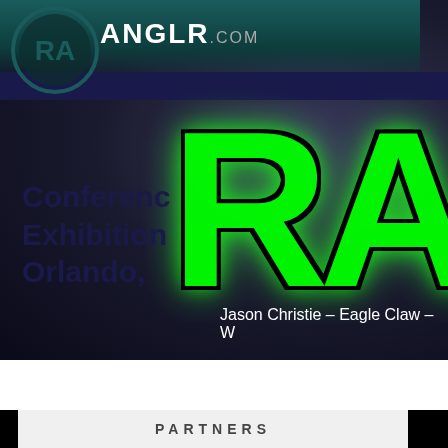[Figure (illustration): Dark banner with teal/blue gradient background, large green graffiti-style 'RA' lettering on the right, dark blue text on left reading 'Conference', 'Exhibition', 'Orlando,' and a caption at the bottom: 'Jason Christie – Eagle Claw – W']
Jason Christie – Eagle Claw – W
PARTNERS